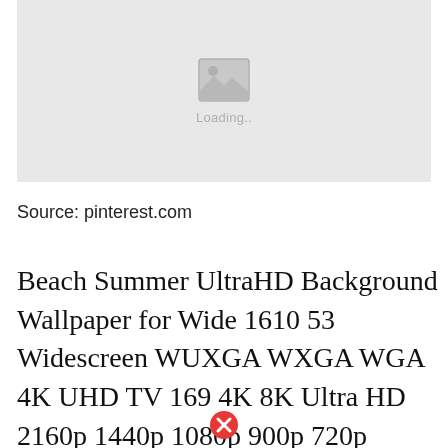[Figure (illustration): Image loading placeholder with a grey background, a mountain/photo icon in the center, and 'Loading..' text below the icon]
Source: pinterest.com
Beach Summer UltraHD Background Wallpaper for Wide 1610 53 Widescreen WUXGA WXGA WGA 4K UHD TV 169 4K 8K Ultra HD 2160p 1440p 1080p 900p 720p